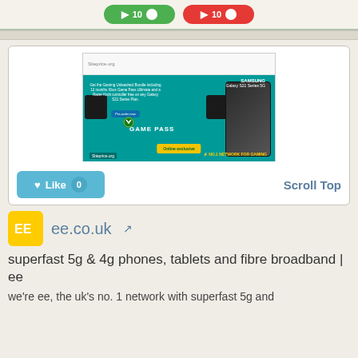[Figure (screenshot): Top bar with green and red toggle/button controls]
[Figure (screenshot): EE advertisement banner showing Samsung Galaxy S21 Series 5G with Xbox Game Pass promotion on teal background, with Like button and Scroll Top link below]
ee.co.uk
superfast 5g & 4g phones, tablets and fibre broadband | ee
we're ee, the uk's no. 1 network with superfast 5g and